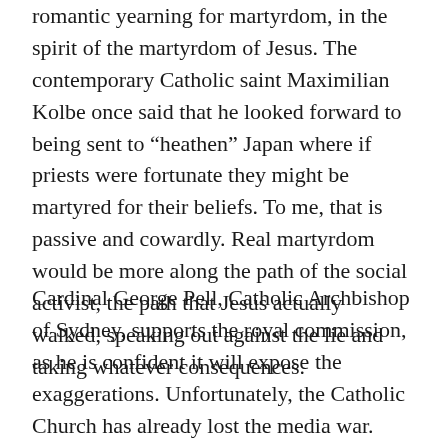romantic yearning for martyrdom, in the spirit of the martyrdom of Jesus. The contemporary Catholic saint Maximilian Kolbe once said that he looked forward to being sent to “heathen” Japan where if priests were fortunate they might be martyred for their beliefs. To me, that is passive and cowardly. Real martyrdom would be more along the path of the social activist, the path that Jesus actually walked, speaking out against the lie and taking whatever consequences.
Cardinal George Pell, Catholic Archbishop of Sydney, supports the royal commission, as he is confident it will expose the exaggerations. Unfortunately, the Catholic Church has already lost the media war. Some people have referred to Cardinal Pell as a public relations nightmare (although I was particularly fond of a